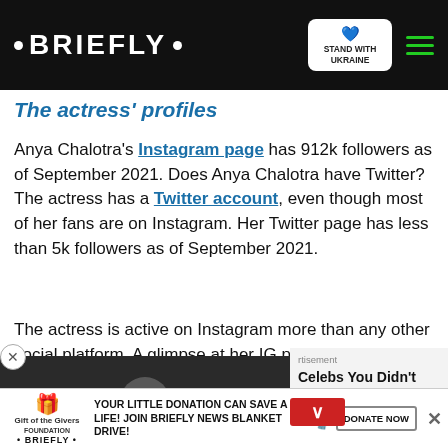• BRIEFLY •  |  STAND WITH UKRAINE  [menu]
The actress' profiles
Anya Chalotra's Instagram page has 912k followers as of September 2021. Does Anya Chalotra have Twitter? The actress has a Twitter account, even though most of her fans are on Instagram. Her Twitter page has less than 5k followers as of September 2021.
The actress is active on Instagram more than any other social platform. A glimpse at her IG posts will tell you so much about her personality and lifestyle. She is kind and [engages with her] social media followers.
[Figure (photo): Video thumbnail of a person at an event with a play button overlay]
Celebs You Didn't Know Are Gay - No. Will Shock
YOUR LITTLE DONATION CAN SAVE A LIFE! JOIN BRIEFLY NEWS BLANKET DRIVE!  DONATE NOW